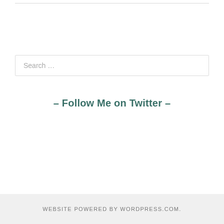Search …
– Follow Me on Twitter –
WEBSITE POWERED BY WORDPRESS.COM.